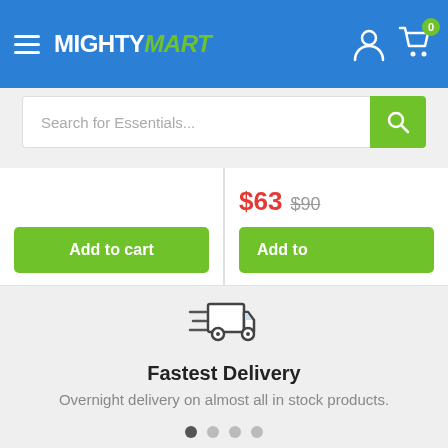MIGHTYMART
Search for Essentials...
$63 $90
Add to cart
Add to
[Figure (illustration): Fast delivery truck icon with speed lines]
Fastest Delivery
Overnight delivery on almost all in stock products.